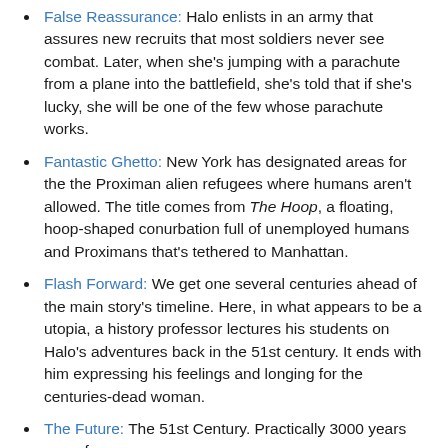False Reassurance: Halo enlists in an army that assures new recruits that most soldiers never see combat. Later, when she's jumping with a parachute from a plane into the battlefield, she's told that if she's lucky, she will be one of the few whose parachute works.
Fantastic Ghetto: New York has designated areas for the the Proximan alien refugees where humans aren't allowed. The title comes from The Hoop, a floating, hoop-shaped conurbation full of unemployed humans and Proximans that's tethered to Manhattan.
Flash Forward: We get one several centuries ahead of the main story's timeline. Here, in what appears to be a utopia, a history professor lectures his students on Halo's adventures back in the 51st century. It ends with him expressing his feelings and longing for the centuries-dead woman.
The Future: The 51st Century. Practically 3000 years away from now.